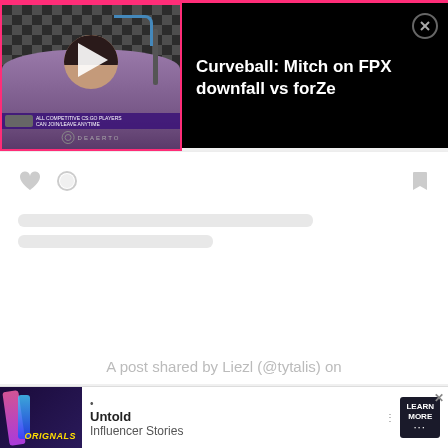[Figure (screenshot): Video notification bar at top showing a video thumbnail of a person with headphones in front of a microphone with a play button overlay, beside text reading 'Curveball: Mitch on FPX downfall vs forZe' with a close button]
[Figure (screenshot): Social media card showing icon row (heart, comment, bookmark), loading placeholder bars, and text 'A post shared by Liezl (@tytalis) on']
A post shared by Liezl (@tytalis) on
Sub... upd...
[Figure (screenshot): Advertisement banner at bottom showing Originals logo on left, bullet points, 'Untold Influencer Stories' text in middle, LEARN MORE button on right, and X close button]